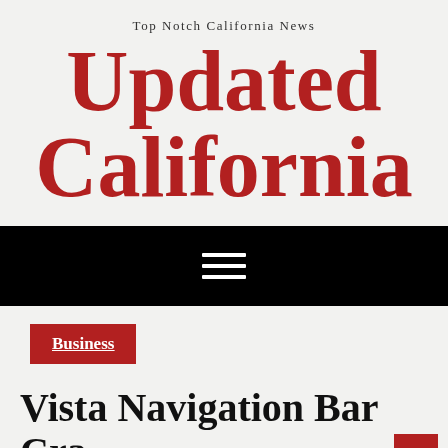Top Notch California News
Updated California
[Figure (other): Black navigation bar with white hamburger menu icon (three horizontal lines)]
Business
Vista Navigation Bar Cra